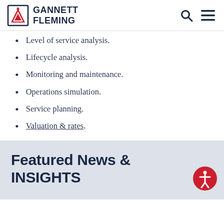Gannett Fleming
Level of service analysis.
Lifecycle analysis.
Monitoring and maintenance.
Operations simulation.
Service planning.
Valuation & rates.
Featured News & INSIGHTS